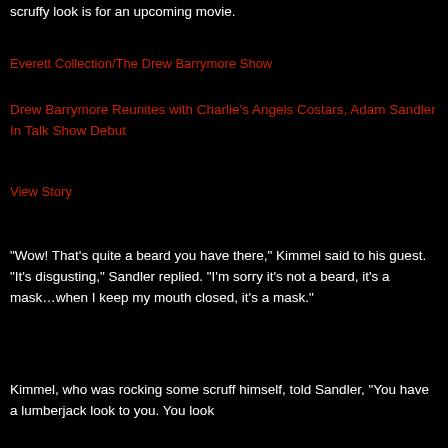scruffy look is for an upcoming movie.
Everett Collection/The Drew Barrymore Show
Drew Barrymore Reunites with Charlie's Angels Costars, Adam Sandler In Talk Show Debut
View Story
“Wow! That’s quite a beard you have there,” Kimmel said to his guest. “It’s disgusting,” Sandler replied. “I’m sorry it’s not a beard, it’s a mask…when I keep my mouth closed, it’s a mask.”
Kimmel, who was rocking some scruff himself, told Sandler, “You have a lumberjack look to you. You look different with a beard than I would have imagined.”